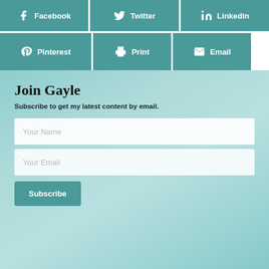[Figure (infographic): Social sharing buttons row 1: Facebook, Twitter, LinkedIn in teal]
[Figure (infographic): Social sharing buttons row 2: Pinterest, Print, Email in teal]
Join Gayle
Subscribe to get my latest content by email.
Your Name (input field)
Your Email (input field)
Subscribe (button)